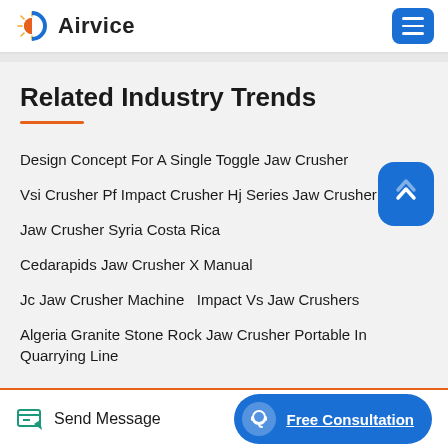Airvice
Related Industry Trends
Design Concept For A Single Toggle Jaw Crusher
Vsi Crusher Pf Impact Crusher Hj Series Jaw Crusher
Jaw Crusher Syria Costa Rica
Cedarapids Jaw Crusher X Manual
Jc Jaw Crusher Machine  Impact Vs Jaw Crushers
Algeria Granite Stone Rock Jaw Crusher Portable In Quarrying Line
Send Message | Free Consultation